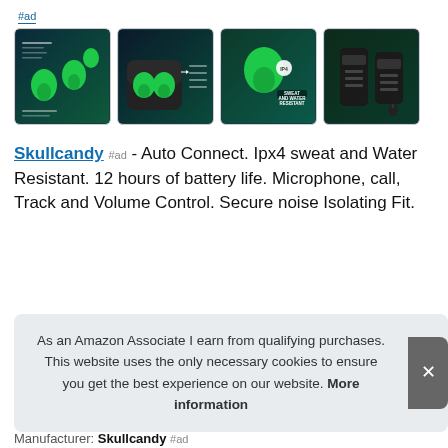#ad
[Figure (photo): Four product thumbnail images of Skullcandy wireless earbuds and charging case on dark teal/black backgrounds. First image shows green earbuds with text. Second shows earbuds in open charging case. Third shows single earbud with 'SWEAT AND WATER RESISTANT' label. Fourth shows a black remote/controller device.]
Skullcandy #ad - Auto Connect. Ipx4 sweat and Water Resistant. 12 hours of battery life. Microphone, call, Track and Volume Control. Secure noise Isolating Fit.
As an Amazon Associate I earn from qualifying purchases. This website uses the only necessary cookies to ensure you get the best experience on our website. More information
Manufacturer: Skullcandy #ad